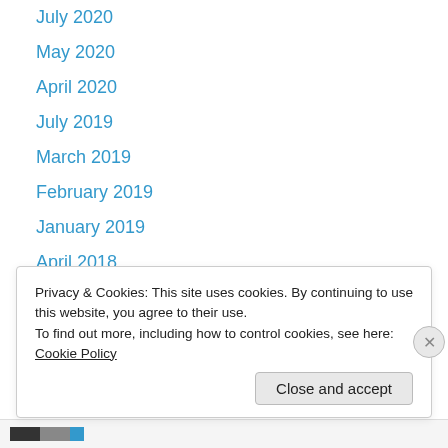July 2020
May 2020
April 2020
July 2019
March 2019
February 2019
January 2019
April 2018
March 2018
February 2018
January 2018
December 2017
September 2017
August 2017
Privacy & Cookies: This site uses cookies. By continuing to use this website, you agree to their use.
To find out more, including how to control cookies, see here: Cookie Policy
Close and accept